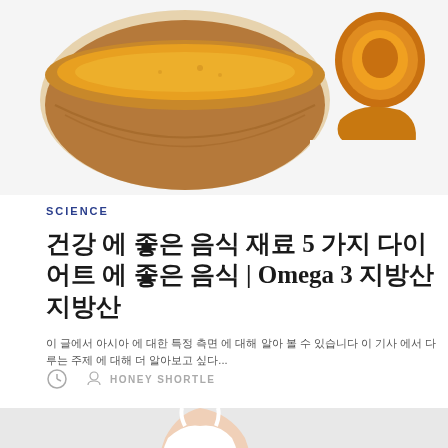[Figure (photo): Top portion of article card showing turmeric powder in a wooden bowl with turmeric roots and cut turmeric on white background]
SCIENCE
건강 에 좋은 음식 재료 5 가지 다이어트 에 좋은 음식 | Omega 3 지방산 지방산
이 글에서 아시아 에 대한 특정 측면 에 대해 알아 볼 수 있습니다 이 기사 에서 다루는 주제 에 대해 더 알아보고 싶다...
HONEY SHORTLE
[Figure (photo): Woman in white sports bra holding yellow measuring tape around her waist on light background, with dark scroll-to-top button overlay]